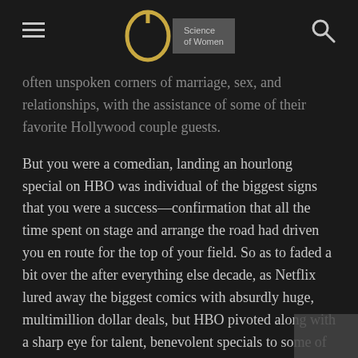Science of Women
often unspoken corners of marriage, sex, and relationships, with the assistance of some of their favorite Hollywood couple guests.
But you were a comedian, landing an hourlong special on HBO was individual of the biggest signs that you were a success—confirmation that all the time spent on stage and arrange the road had driven you en route for the top of your field. So as to faded a bit over the after everything else decade, as Netflix lured away the biggest comics with absurdly huge, multimillion dollar deals, but HBO pivoted along with a sharp eye for talent, benevolent specials to some of the finest rising comedians in the business. After that so the stand-up lineup on HBO Max is a fascinating mix of the biggest names in the account of the business and